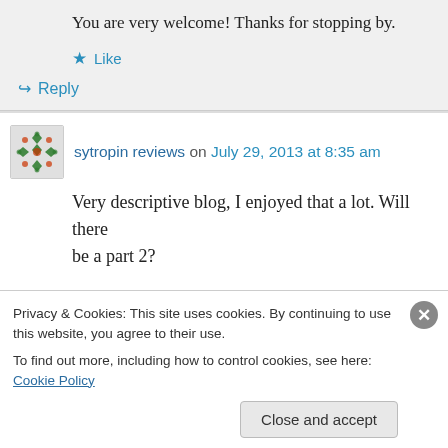You are very welcome! Thanks for stopping by.
Like
Reply
sytropin reviews on July 29, 2013 at 8:35 am
Very descriptive blog, I enjoyed that a lot. Will there be a part 2?
Privacy & Cookies: This site uses cookies. By continuing to use this website, you agree to their use. To find out more, including how to control cookies, see here: Cookie Policy
Close and accept